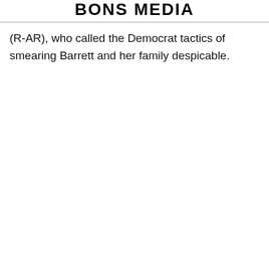BONS MEDIA
(R-AR), who called the Democrat tactics of smearing Barrett and her family despicable.